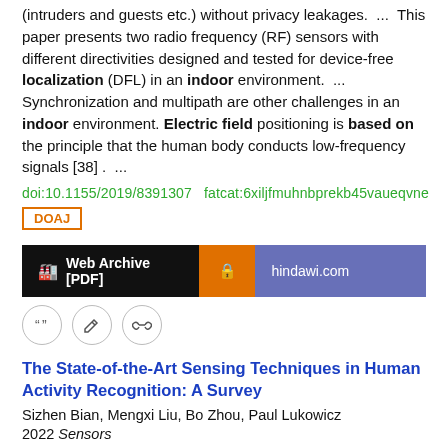(intruders and guests etc.) without privacy leakages.  ...  This paper presents two radio frequency (RF) sensors with different directivities designed and tested for device-free localization (DFL) in an indoor environment.  ...  Synchronization and multipath are other challenges in an indoor environment. Electric field positioning is based on the principle that the human body conducts low-frequency signals [38] .  ...
doi:10.1155/2019/8391307   fatcat:6xiljfmuhnbprekb45vaueqvne
DOAJ
[Figure (other): Web Archive [PDF] and hindawi.com buttons with icons]
[Figure (other): Three icon circles: quote, edit, link]
The State-of-the-Art Sensing Techniques in Human Activity Recognition: A Survey
Sizhen Bian, Mengxi Liu, Bo Zhou, Paul Lukowicz
2022 Sensors
First, we categorized the HAR-related sensing modalities into five classes: mechanical kinematic sensing, field-based sensing, wave-based sensing, physiological sensing, and hybrid/others.  ...  Previous HAR-related surveys comprehensively focused on the sensing with ...